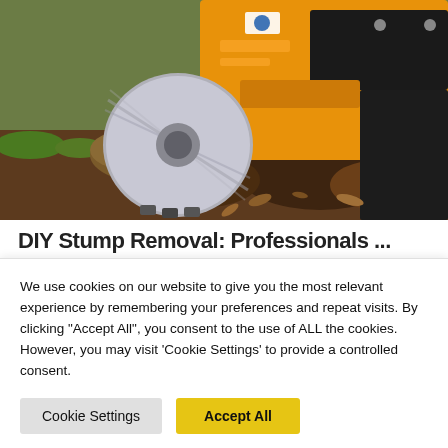[Figure (photo): Close-up photo of a yellow stump grinder machine actively grinding a tree stump, with dark wood chips and soil scattered around. The spinning metal cutting wheel is visible in motion.]
DIY Stump Removal: Professionals...
We use cookies on our website to give you the most relevant experience by remembering your preferences and repeat visits. By clicking "Accept All", you consent to the use of ALL the cookies. However, you may visit 'Cookie Settings' to provide a controlled consent.